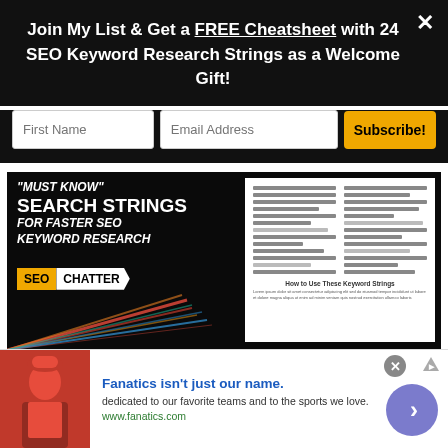Join My List & Get a FREE Cheatsheet with 24 SEO Keyword Research Strings as a Welcome Gift!
[Figure (screenshot): Email subscription form with First Name field, Email Address field, and yellow Subscribe! button]
[Figure (infographic): SEO Chatter promotional banner: "MUST KNOW" SEARCH STRINGS FOR FASTER SEO KEYWORD RESEARCH with SEO CHATTER logo and a cheatsheet preview on the right]
[Figure (infographic): Fanatics advertisement: red sports shirt image on left, blue headline 'Fanatics isn't just our name.' with subtext 'dedicated to our favorite teams and to the sports we love.' and www.fanatics.com URL, purple circle arrow CTA on right]